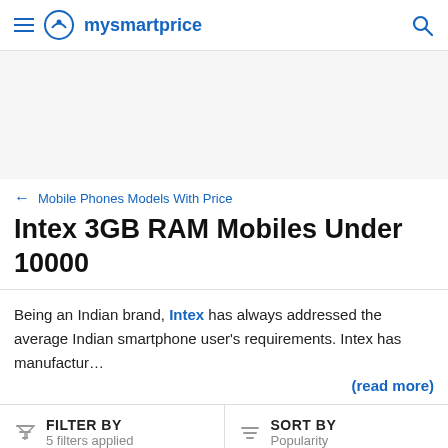mysmartprice
[Figure (other): Advertisement banner placeholder area]
← Mobile Phones Models With Price
Intex 3GB RAM Mobiles Under 10000
Being an Indian brand, Intex has always addressed the average Indian smartphone user's requirements. Intex has manufactur… (read more)
FILTER BY
5 filters applied
SORT BY
Popularity
Intex 3GB RAM Mobiles Under 10000 in India